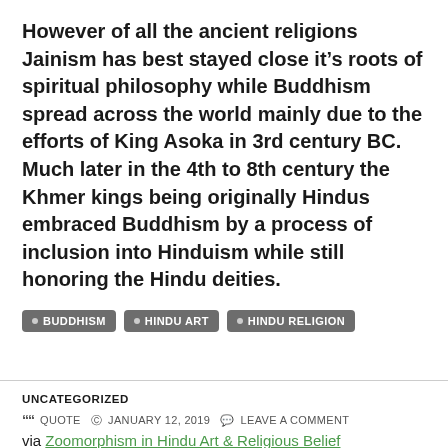However of all the ancient religions Jainism has best stayed close it’s roots of spiritual philosophy while Buddhism spread across the world mainly due to the efforts of King Asoka in 3rd century BC. Much later in the 4th to 8th century the Khmer kings being originally Hindus embraced Buddhism by a process of inclusion into Hinduism while still honoring the Hindu deities.
BUDDHISM
HINDU ART
HINDU RELIGION
UNCATEGORIZED
QUOTE  © JANUARY 12, 2019  💬 LEAVE A COMMENT
via Zoomorphism in Hindu Art & Religious Belief